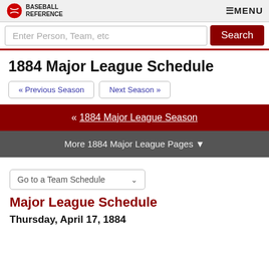BASEBALL REFERENCE  ≡MENU
Enter Person, Team, etc  Search
1884 Major League Schedule
« Previous Season
Next Season »
« 1884 Major League Season
More 1884 Major League Pages ▼
Go to a Team Schedule
Major League Schedule
Thursday, April 17, 1884